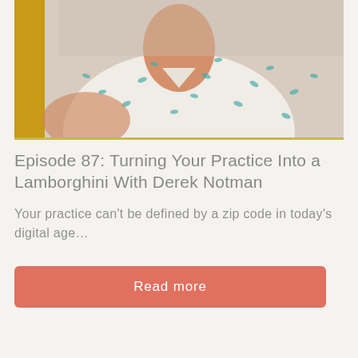[Figure (photo): Photo of a person (Derek Notman) wearing a white polo shirt with small teal bird/pattern print, photographed from the torso up against a blurred background with a golden/yellow element visible on the left side.]
Episode 87: Turning Your Practice Into a Lamborghini With Derek Notman
Your practice can't be defined by a zip code in today's digital age…
Read more